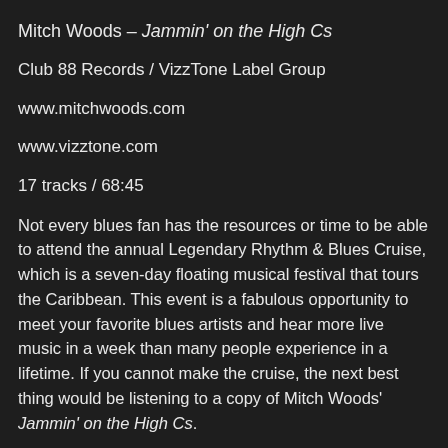Mitch Woods – Jammin' on the High Cs
Club 88 Records / VizzTone Label Group
www.mitchwoods.com
www.vizztone.com
17 tracks / 68:45
Not every blues fan has the resources or time to be able to attend the annual Legendary Rhythm & Blues Cruise, which is a seven-day floating musical festival that tours the Caribbean. This event is a fabulous opportunity to meet your favorite blues artists and hear more live music in a week than many people experience in a lifetime. If you cannot make the cruise, the next best thing would be listening to a copy of Mitch Woods' Jammin' on the High Cs.
Mitch Woods is an amazing showman and an American treasure. He is a classically trained pianist who joined the blues fold after relocating from New York to the San Francisco in the early 1970s. Mitch and his band, the Rocket 88s,